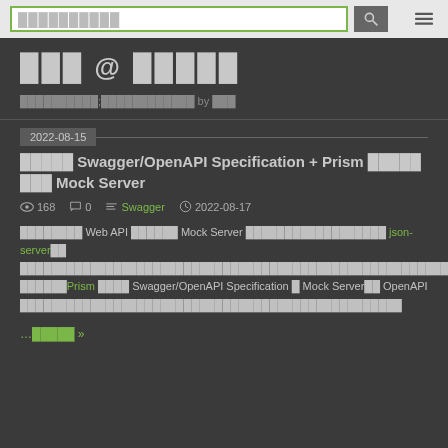search input bar with search button and menu button
███ @ █████
██████████;████████████ by ███
2022-08-15
█████ Swagger/OpenAPI Specification + Prism ████ ███ Mock Server
168  0  Swagger  2022-08-17
████████ Web API ██████ Mock Server ██████████████████ json-server██ ████████████████████████████████████████████████████████████████ ██████Prism ████ Swagger/OpenAPI Specification █ Mock Server██ OpenAPI █████████████████████████████████
…█████ »